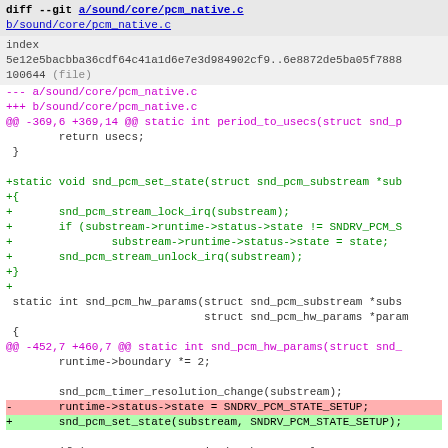[Figure (screenshot): Git diff output for sound/core/pcm_native.c showing addition of snd_pcm_set_state function and replacement of direct state assignment with function call]
diff --git a/sound/core/pcm_native.c b/sound/core/pcm_native.c
index 5e12e5bacbba36cdf64c41a1d6e7e3d984902cf9..6e8872de5ba05f7888
100644 (file)
--- a/sound/core/pcm_native.c
+++ b/sound/core/pcm_native.c
@@ -369,6 +369,14 @@ static int period_to_usecs(struct snd_p
        return usecs;
 }

+static void snd_pcm_set_state(struct snd_pcm_substream *sub
+{
+       snd_pcm_stream_lock_irq(substream);
+       if (substream->runtime->status->state != SNDRV_PCM_S
+               substream->runtime->status->state = state;
+       snd_pcm_stream_unlock_irq(substream);
+}
++
 static int snd_pcm_hw_params(struct snd_pcm_substream *subs
                              struct snd_pcm_hw_params *param
 {
@@ -452,7 +460,7 @@ static int snd_pcm_hw_params(struct snd_
        runtime->boundary *= 2;

        snd_pcm_timer_resolution_change(substream);
-       runtime->status->state = SNDRV_PCM_STATE_SETUP;
+       snd_pcm_set_state(substream, SNDRV_PCM_STATE_SETUP);

        if (pm_qos_request_active(&substream->latency_pm_qos
           pm_qos_remove_request(&substream->latency